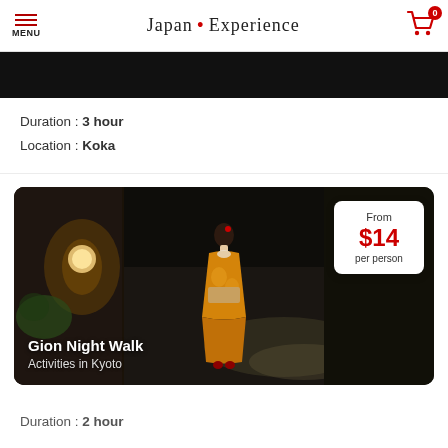MENU  Japan • Experience  Cart: 0
[Figure (photo): Dark image strip at top, partial photo of previous card]
Duration : 3 hour
Location : Koka
[Figure (photo): Night street scene in Gion, Kyoto with a woman in a yellow kimono walking away from camera. Price box shows From $14 per person. Caption: Gion Night Walk, Activities in Kyoto]
Duration : 2 hour